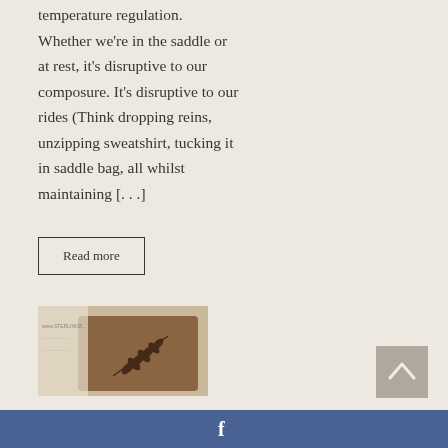temperature regulation. Whether we're in the saddle or at rest, it's disruptive to our composure. It's disruptive to our rides (Think dropping reins, unzipping sweatshirt, tucking it in saddle bag, all whilst maintaining [...]
Read more
[Figure (photo): Close-up photo of a wooden item with a leaf/fern branch design burned or carved into it, with fabric or paper in the background showing a website URL www.STERLINGB...]
[Figure (other): Scroll-to-top button with upward arrow chevron on a grey/tan background]
f